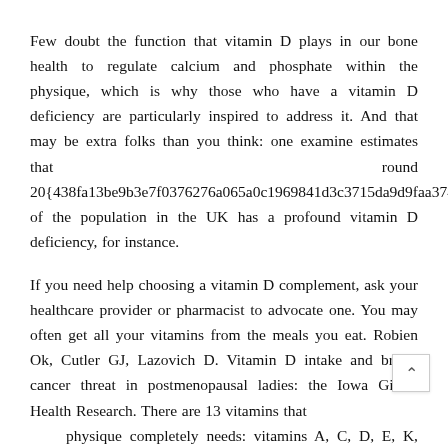Few doubt the function that vitamin D plays in our bone health to regulate calcium and phosphate within the physique, which is why those who have a vitamin D deficiency are particularly inspired to address it. And that may be extra folks than you think: one examine estimates that round 20{438fa13be9b3e7f0376276a065a0c1969841d3c3715da9d9faa374e14cc72fab} of the population in the UK has a profound vitamin D deficiency, for instance.
If you need help choosing a vitamin D complement, ask your healthcare provider or pharmacist to advocate one. You may often get all your vitamins from the meals you eat. Robien Ok, Cutler GJ, Lazovich D. Vitamin D intake and breast cancer threat in postmenopausal ladies: the Iowa Girls's Health Research. There are 13 vitamins that physique completely needs: vitamins A, C, D, E, K, and the